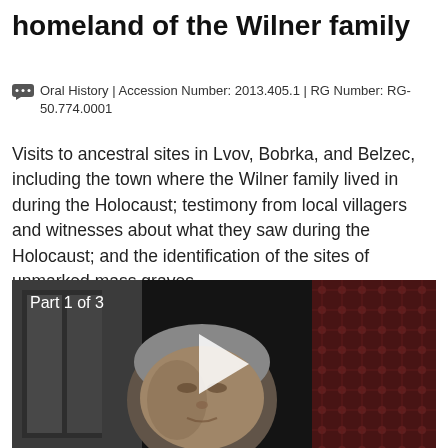homeland of the Wilner family
Oral History | Accession Number: 2013.405.1 | RG Number: RG-50.774.0001
Visits to ancestral sites in Lvov, Bobrka, and Belzec, including the town where the Wilner family lived in during the Holocaust; testimony from local villagers and witnesses about what they saw during the Holocaust; and the identification of the sites of unmarked mass graves.
[Figure (photo): Video thumbnail showing an elderly person with white hair; text overlay reads 'Part 1 of 3'; a play button triangle is visible in the center.]